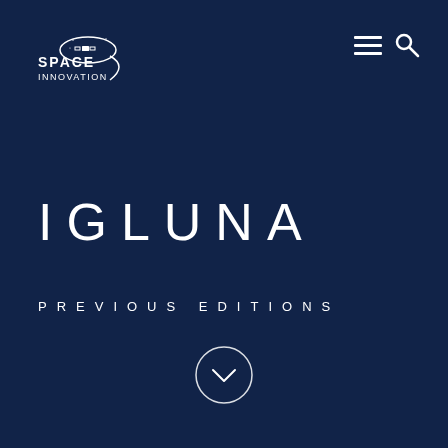[Figure (logo): Space Innovation logo with satellite orbit graphic and text SPACE INNOVATION]
[Figure (other): Navigation icons: hamburger menu and search magnifying glass]
IGLUNA
PREVIOUS EDITIONS
[Figure (other): Circular scroll-down chevron button]